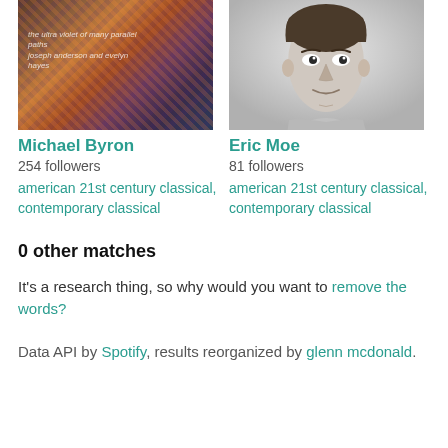[Figure (photo): Album cover art for 'the ultra violet of many parallel paths' by joseph anderson and evelyn hayes — dark, colorful abstract nature imagery]
[Figure (photo): Black and white headshot photo of Eric Moe, a middle-aged man smiling slightly]
Michael Byron
254 followers
american 21st century classical, contemporary classical
Eric Moe
81 followers
american 21st century classical, contemporary classical
0 other matches
It's a research thing, so why would you want to remove the words?
Data API by Spotify, results reorganized by glenn mcdonald.